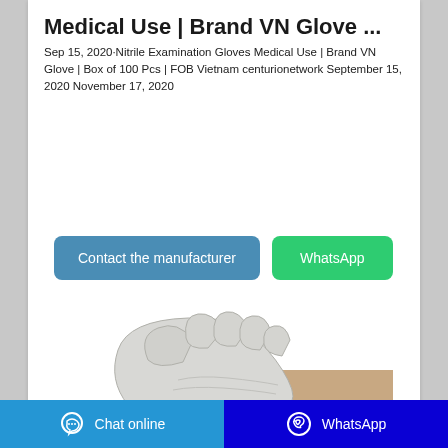Medical Use | Brand VN Glove ...
Sep 15, 2020·Nitrile Examination Gloves Medical Use | Brand VN Glove | Box of 100 Pcs | FOB Vietnam centurionetwork September 15, 2020 November 17, 2020
[Figure (illustration): Contact the manufacturer button (blue) and WhatsApp button (green)]
[Figure (photo): A white/light gray nitrile examination glove on a hand, shown from the front, cropped at the bottom]
Chat online   WhatsApp